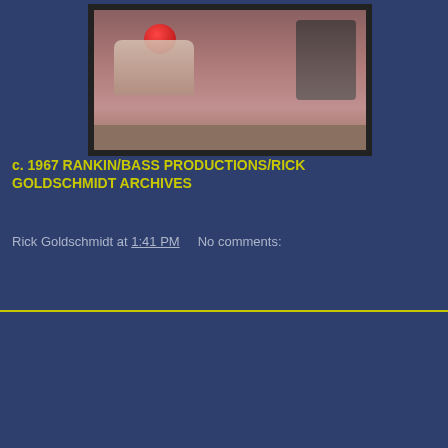[Figure (photo): Still from a 1967 Rankin/Bass production showing costumed figures or puppets on a stage set with a red ball or head visible]
c. 1967 RANKIN/BASS PRODUCTIONS/RICK GOLDSCHMIDT ARCHIVES
Rick Goldschmidt at 1:41 PM     No comments:
Share
[Figure (photo): Handwritten song list on a yellow and teal background with a golden orb/face visible. List includes: 1. Land Of Nothingness, 2. The Last Time (Tema's Song), 3. Roly's Song, 4. (unclear), 5. (unclear)]